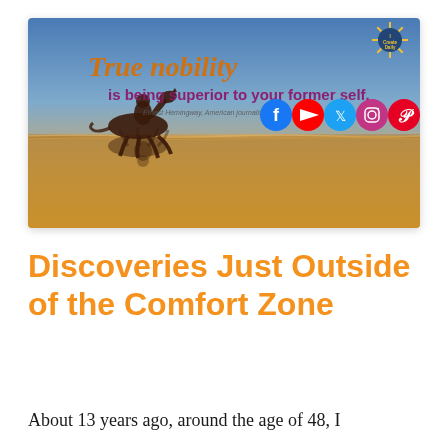[Figure (illustration): Banner image with gradient sky background (blue to warm gold/orange). Text reads 'True nobility' in orange cursive script, 'is being superior to your former self.' in purple bold serif. Attribution: 'Ernest Hemingway, American journalist,' in small text. Silhouette of horse and rider reflected in water. Social media icons (Facebook, YouTube, Twitter, Instagram, Pinterest) in colored circles. 'I Create Daily' sunburst logo in top right corner.]
Discoveries Just Outside of the Comfort Zone
About 13 years ago, around the age of 48, I